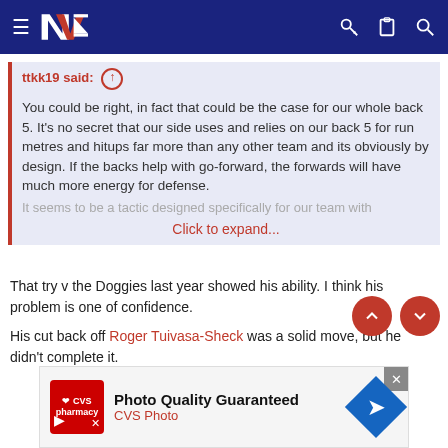[Figure (screenshot): Navigation bar with hamburger menu, NZ Warriors logo, key icon, clipboard icon, and search icon on dark navy background]
ttkk19 said: ↑
You could be right, in fact that could be the case for our whole back 5. It's no secret that our side uses and relies on our back 5 for run metres and hitups far more than any other team and its obviously by design. If the backs help with go-forward, the forwards will have much more energy for defense.
It seems to be a tactic designed specifically for our team with
Click to expand...
That try v the Doggies last year showed his ability. I think his problem is one of confidence.
His cut back off Roger Tuivasa-Sheck was a solid move, but he didn't complete it.
[Figure (screenshot): CVS Photo advertisement banner with CVS pharmacy logo, text 'Photo Quality Guaranteed' and 'CVS Photo', blue diamond arrow icon, and close button]